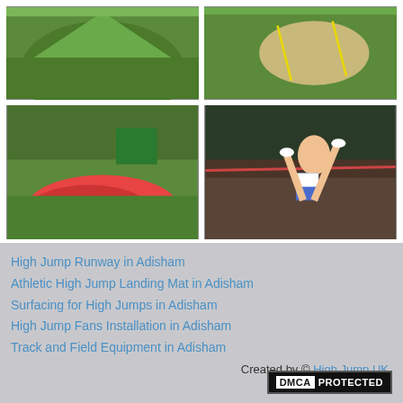[Figure (photo): Top-left photo: green grass mound/hill used as a high jump runway area]
[Figure (photo): Top-right photo: aerial view of a long jump or high jump sand pit area with yellow markers on grass]
[Figure (photo): Bottom-left photo: red/pink high jump landing mat laid on grass field with trees and green shed in background]
[Figure (photo): Bottom-right photo: female athlete performing a high jump over a bar, wearing blue shorts and white top]
High Jump Runway in Adisham
Athletic High Jump Landing Mat in Adisham
Surfacing for High Jumps in Adisham
High Jump Fans Installation in Adisham
Track and Field Equipment in Adisham
Created by © High Jump UK
DMCA PROTECTED